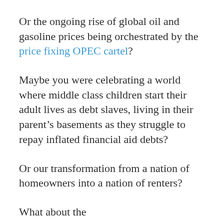Or the ongoing rise of global oil and gasoline prices being orchestrated by the price fixing OPEC cartel?
Maybe you were celebrating a world where middle class children start their adult lives as debt slaves, living in their parent’s basements as they struggle to repay inflated financial aid debts?
Or our transformation from a nation of homeowners into a nation of renters?
What about the